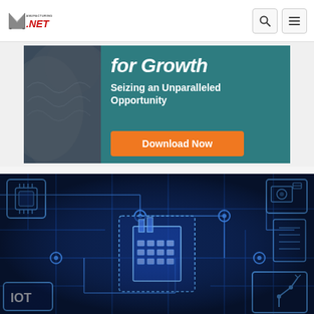Manufacturing.NET
[Figure (infographic): Banner advertisement with teal background showing text 'for Growth' and 'Seizing an Unparalleled Opportunity' with an orange Download Now button]
[Figure (photo): Blue circuit board with IoT and manufacturing icons overlaid, showing interconnected industrial technology (Industry 4.0 / IIoT visual with IOT label, robotic arm, factory building icons on circuit board background)]